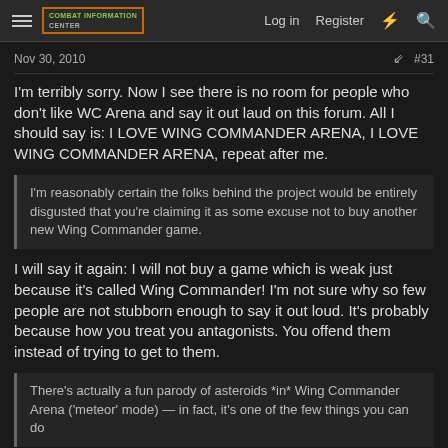Combat Information Center — Log in  Register
Nov 30, 2010  #31
I'm terribly sorry. Now I see there is no room for people who don't like WC Arena and say it out laud on this forum. All I should say is: I LOVE WING COMMANDER ARENA, I LOVE WING COMMANDER ARENA, repeat after me.
I'm reasonably certain the folks behind the project would be entirely disgusted that you're claiming it as some excuse not to buy another new Wing Commander game.
I will say it again: I will not buy a game which is weak just because it's called Wing Commander! I'm not sure why so few people are not stubborn enough to say it out loud. It's probably because how you treat you antagonists. You offend them instead of trying to get to them.
There's actually a fun parody of asteroids *in* Wing Commander Arena ('meteor' mode) — in fact, it's one of the few things you can do